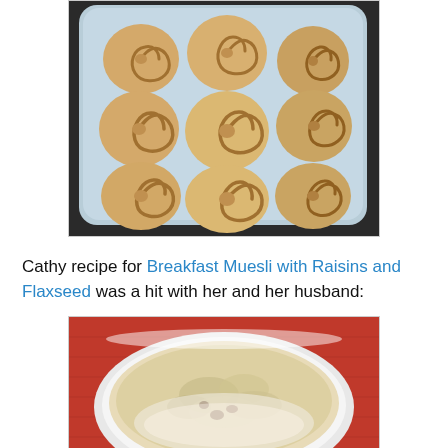[Figure (photo): Cinnamon rolls arranged on a light blue plate, 9 rolls in a 3x3 grid, golden-brown with swirl pattern, on a dark tray background]
Cathy recipe for Breakfast Muesli with Raisins and Flaxseed was a hit with her and her husband:
[Figure (photo): Bowl of Breakfast Muesli with Raisins and Flaxseed in a white bowl on a red surface, creamy oat mixture with visible raisins]